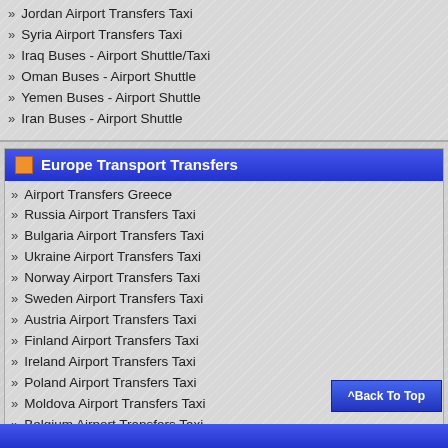Jordan Airport Transfers Taxi
Syria Airport Transfers Taxi
Iraq Buses - Airport Shuttle/Taxi
Oman Buses - Airport Shuttle
Yemen Buses - Airport Shuttle
Iran Buses - Airport Shuttle
Europe Transport Transfers
Airport Transfers Greece
Russia Airport Transfers Taxi
Bulgaria Airport Transfers Taxi
Ukraine Airport Transfers Taxi
Norway Airport Transfers Taxi
Sweden Airport Transfers Taxi
Austria Airport Transfers Taxi
Finland Airport Transfers Taxi
Ireland Airport Transfers Taxi
Poland Airport Transfers Taxi
Moldova Airport Transfers Taxi
Belgium Airport Transfers Taxi
Hungary Airport Transfers Taxi
Czechia Airport Transfers Taxi
Albania Airport Transfers Taxi
Serbia Airport Transfers
Macedonia Airport Transfers